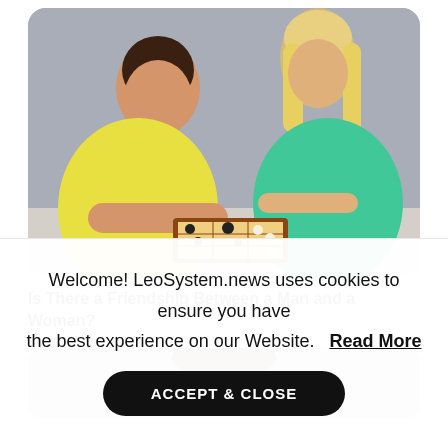[Figure (photo): A young man in a yellow shirt and a young woman in a green top playing chess on a wooden chessboard, lying on the floor facing each other against a gray background.]
Is There a Friendship Between a Man and a Woman?
[Figure (photo): Partial photo of a person's face peeking over a surface, gray background.]
Welcome! LeoSystem.news uses cookies to ensure you have the best experience on our Website. Read More
ACCEPT & CLOSE